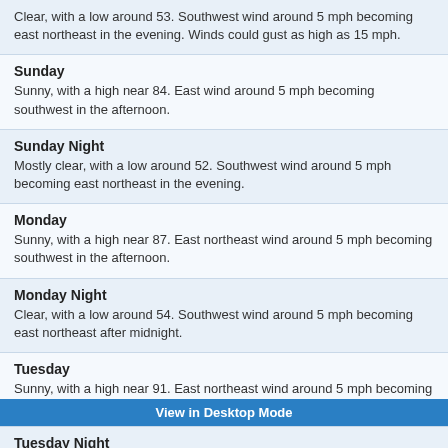Clear, with a low around 53. Southwest wind around 5 mph becoming east northeast in the evening. Winds could gust as high as 15 mph.
Sunday
Sunny, with a high near 84. East wind around 5 mph becoming southwest in the afternoon.
Sunday Night
Mostly clear, with a low around 52. Southwest wind around 5 mph becoming east northeast in the evening.
Monday
Sunny, with a high near 87. East northeast wind around 5 mph becoming southwest in the afternoon.
Monday Night
Clear, with a low around 54. Southwest wind around 5 mph becoming east northeast after midnight.
Tuesday
Sunny, with a high near 91. East northeast wind around 5 mph becoming southwest in the afternoon.
Tuesday Night
Clear, with a low around 57. West southwest wind around 5 mph becoming east northeast in the evening.
Wednesday
Sunny, with a high near 92. East northeast wind around 5 mph becoming southwest in the afternoon.
View in Desktop Mode